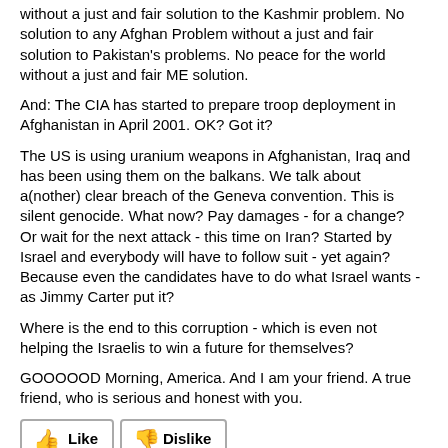without a just and fair solution to the Kashmir problem. No solution to any Afghan Problem without a just and fair solution to Pakistan's problems. No peace for the world without a just and fair ME solution.
And: The CIA has started to prepare troop deployment in Afghanistan in April 2001. OK? Got it?
The US is using uranium weapons in Afghanistan, Iraq and has been using them on the balkans. We talk about a(nother) clear breach of the Geneva convention. This is silent genocide. What now? Pay damages - for a change? Or wait for the next attack - this time on Iran? Started by Israel and everybody will have to follow suit - yet again? Because even the candidates have to do what Israel wants - as Jimmy Carter put it?
Where is the end to this corruption - which is even not helping the Israelis to win a future for themselves?
GOOOOOD Morning, America. And I am your friend. A true friend, who is serious and honest with you.
[Figure (other): Like and Dislike buttons with thumbs up (green) and thumbs down (red) icons]